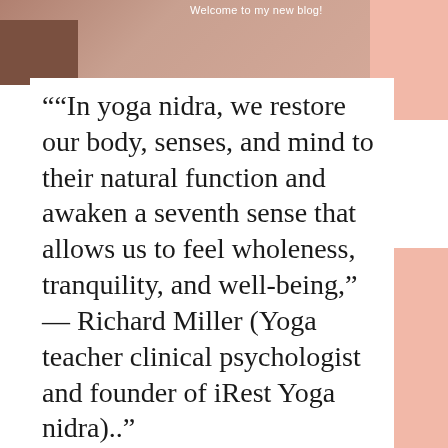Welcome to my new blog!
[Figure (photo): Partial photo of a person at the top of the page, with salmon/pink decorative rectangles in the background]
""In yoga nidra, we restore our body, senses, and mind to their natural function and awaken a seventh sense that allows us to feel wholeness, tranquility, and well-being," — Richard Miller (Yoga teacher clinical psychologist and founder of iRest Yoga nidra).."